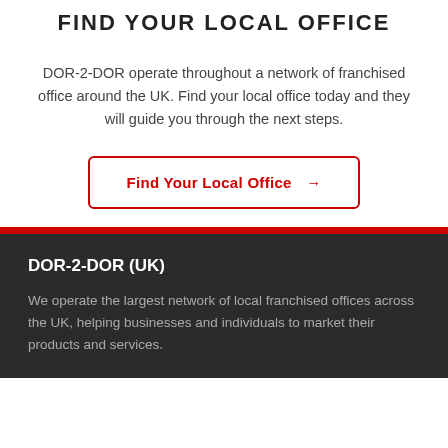FIND YOUR LOCAL OFFICE
DOR-2-DOR operate throughout a network of franchised office around the UK. Find your local office today and they will guide you through the next steps.
Find Your Local Office →
DOR-2-DOR (UK)
We operate the largest network of local franchised offices across the UK, helping businesses and individuals to market their products and services.